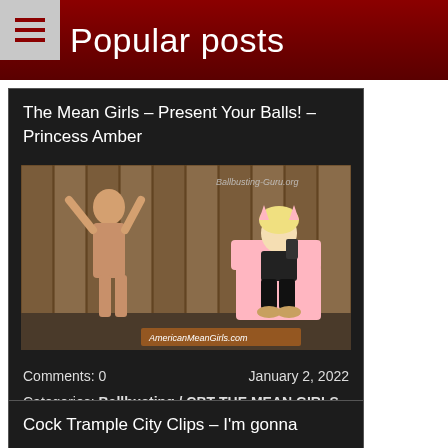Popular posts
The Mean Girls – Present Your Balls! – Princess Amber
[Figure (photo): Photo of a scene with a woman sitting on a pink chair looking at her phone, wearing black clothing and leopard print shoes, and a man standing against a wooden fence wall. Watermark reads 'Ballbusting-Guru.org' and 'AmericanMeanGirls.com']
Comments: 0    January 2, 2022
Categories: Ballbusting / CBT,THE MEAN GIRLS
Models: Princess Amber
Cock Trample City Clips – I'm gonna